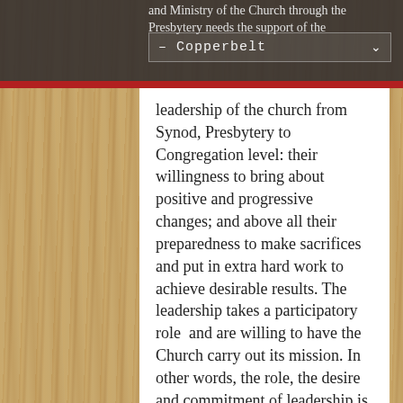and Ministry of the Church through the Presbytery needs the support of the — Copperbelt
leadership of the church from Synod, Presbytery to Congregation level: their willingness to bring about positive and progressive changes; and above all their preparedness to make sacrifices and put in extra hard work to achieve desirable results. The leadership takes a participatory role and are willing to have the Church carry out its mission. In other words, the role, the desire and commitment of leadership is key in the success of the Church Mission. Remember the saying: “where there is a will, there is a way.”